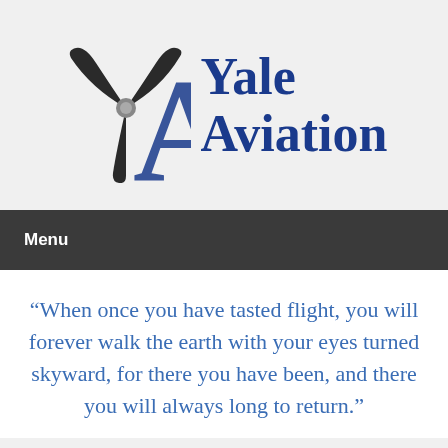[Figure (logo): Yale Aviation logo: propeller graphic with stylized YA letters and text 'Yale Aviation']
Menu
“When once you have tasted flight, you will forever walk the earth with your eyes turned skyward, for there you have been, and there you will always long to return.”
KHVN Weather Report via NOAA